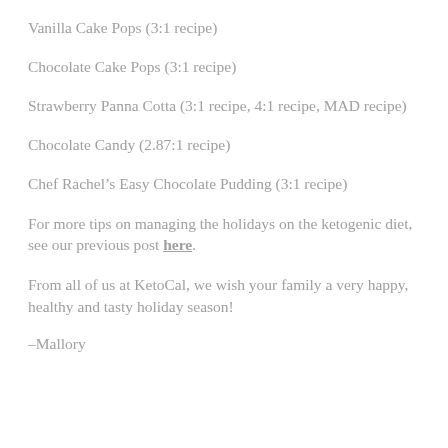Vanilla Cake Pops (3:1 recipe)
Chocolate Cake Pops (3:1 recipe)
Strawberry Panna Cotta (3:1 recipe, 4:1 recipe, MAD recipe)
Chocolate Candy (2.87:1 recipe)
Chef Rachel’s Easy Chocolate Pudding (3:1 recipe)
For more tips on managing the holidays on the ketogenic diet, see our previous post here.
From all of us at KetoCal, we wish your family a very happy, healthy and tasty holiday season!
–Mallory